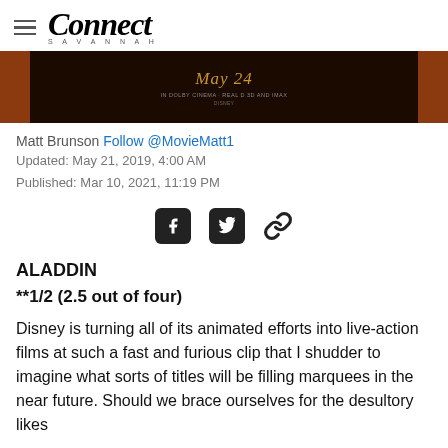Connect Savannah
[Figure (photo): Movie promotional banner showing 'May 24' text on dark background with orange/brown sides]
Matt Brunson Follow @MovieMatt1
Updated: May 21, 2019, 4:00 AM
Published: Mar 10, 2021, 11:19 PM
[Figure (infographic): Social share icons: Facebook, Twitter, and link icons]
ALADDIN
**1/2 (2.5 out of four)
Disney is turning all of its animated efforts into live-action films at such a fast and furious clip that I shudder to imagine what sorts of titles will be filling marquees in the near future. Should we brace ourselves for the desultory likes